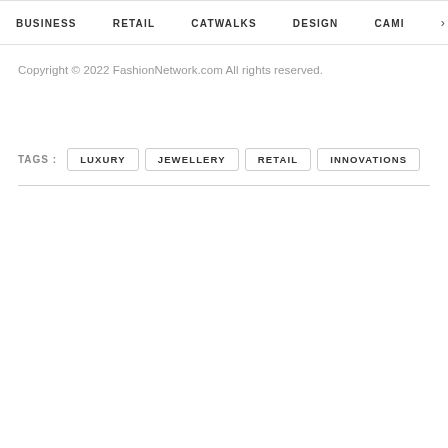BUSINESS   RETAIL   CATWALKS   DESIGN   CAMI  >
Copyright © 2022 FashionNetwork.com All rights reserved.
TAGS :   LUXURY   JEWELLERY   RETAIL   INNOVATIONS